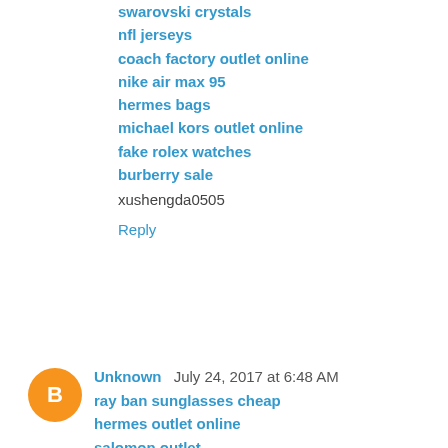swarovski crystals
nfl jerseys
coach factory outlet online
nike air max 95
hermes bags
michael kors outlet online
fake rolex watches
burberry sale
xushengda0505
Reply
Unknown  July 24, 2017 at 6:48 AM
ray ban sunglasses cheap
hermes outlet online
salomon outlet
coach outlet online
nike outlet store online
adidas sneakers
true religion
polo ralph lauren outlet
oakley sunglasses wholesale